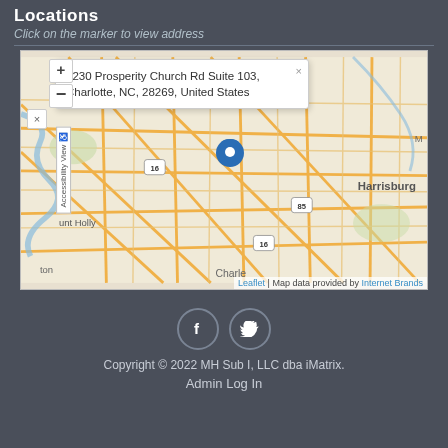Locations
Click on the marker to view address
[Figure (map): Interactive map showing location pin at Charlotte, NC area. A popup shows the address: 3230 Prosperity Church Rd Suite 103, Charlotte, NC, 28269, United States. Map includes zoom controls, roads, and nearby areas including Harrisburg and Mount Holly. Attribution: Leaflet | Map data provided by Internet Brands.]
Copyright © 2022 MH Sub I, LLC dba iMatrix.
Admin Log In